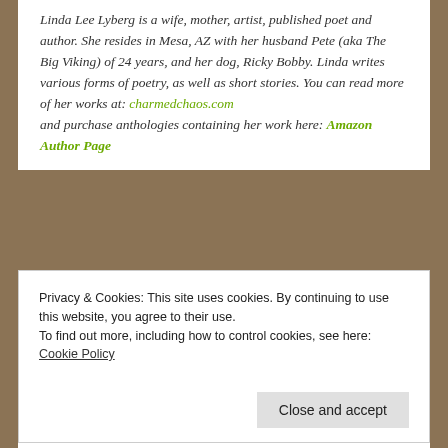Linda Lee Lyberg is a wife, mother, artist, published poet and author. She resides in Mesa, AZ with her husband Pete (aka The Big Viking) of 24 years, and her dog, Ricky Bobby. Linda writes various forms of poetry, as well as short stories. You can read more of her works at: charmedchaos.com and purchase anthologies containing her work here: Amazon Author Page
Privacy & Cookies: This site uses cookies. By continuing to use this website, you agree to their use. To find out more, including how to control cookies, see here: Cookie Policy
Close and accept
Related